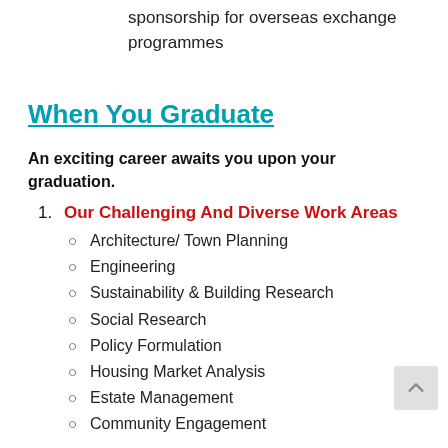sponsorship for overseas exchange programmes
When You Graduate
An exciting career awaits you upon your graduation.
1. Our Challenging And Diverse Work Areas
Architecture/ Town Planning
Engineering
Sustainability & Building Research
Social Research
Policy Formulation
Housing Market Analysis
Estate Management
Community Engagement